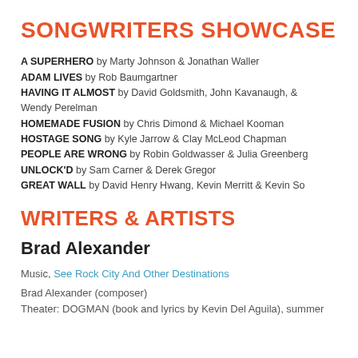SONGWRITERS SHOWCASE
A SUPERHERO by Marty Johnson & Jonathan Waller
ADAM LIVES by Rob Baumgartner
HAVING IT ALMOST by David Goldsmith, John Kavanaugh, & Wendy Perelman
HOMEMADE FUSION by Chris Dimond & Michael Kooman
HOSTAGE SONG by Kyle Jarrow & Clay McLeod Chapman
PEOPLE ARE WRONG by Robin Goldwasser & Julia Greenberg
UNLOCK'D by Sam Carner & Derek Gregor
GREAT WALL by David Henry Hwang, Kevin Merritt & Kevin So
WRITERS & ARTISTS
Brad Alexander
Music, See Rock City And Other Destinations
Brad Alexander (composer)
Theater: DOGMAN (book and lyrics by Kevin Del Aguila), summer